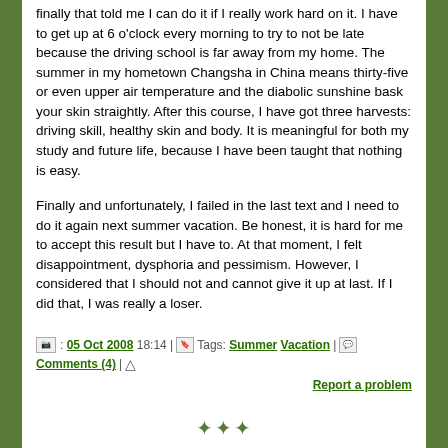finally that told me I can do it if I really work hard on it. I have to get up at 6 o'clock every morning to try to not be late because the driving school is far away from my home. The summer in my hometown Changsha in China means thirty-five or even upper air temperature and the diabolic sunshine bask your skin straightly. After this course, I have got three harvests: driving skill, healthy skin and body. It is meaningful for both my study and future life, because I have been taught that nothing is easy.
Finally and unfortunately, I failed in the last text and I need to do it again next summer vacation. Be honest, it is hard for me to accept this result but I have to. At that moment, I felt disappointment, dysphoria and pessimism. However, I considered that I should not and cannot give it up at last. If I did that, I was really a loser.
05 Oct 2008 18:14 | Tags: Summer Vacation | Comments (4) | Report a problem
Saturday 04 October 2008 »